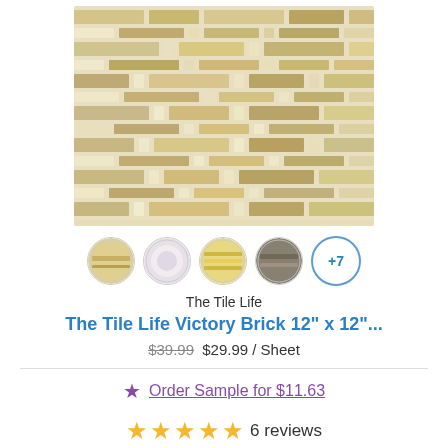[Figure (photo): Mosaic tile product image showing beige, cream, and gold brick-pattern mosaic tiles arranged in horizontal rows]
[Figure (other): Four circular color swatches showing tile color variants (beige/gold, light pink/white, gold/yellow, dark gray/olive) plus a '+7' button indicating more color options]
The Tile Life
The Tile Life Victory Brick 12" x 12"...
$39.99 $29.99 / Sheet
Order Sample for $11.63
6 reviews
Address